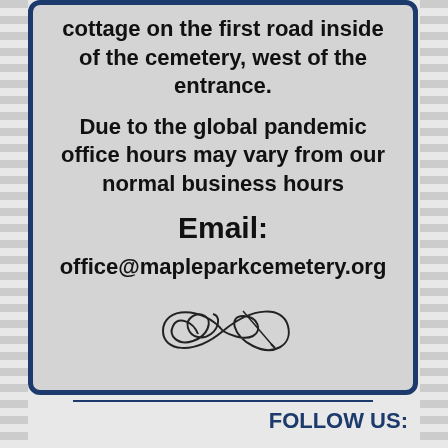cottage on the first road inside of the cemetery, west of the entrance.
Due to the global pandemic office hours may vary from our normal business hours
Email:
office@mapleparkcemetery.org
[Figure (illustration): Decorative curly line drawing / flourish ornament]
FOLLOW US: